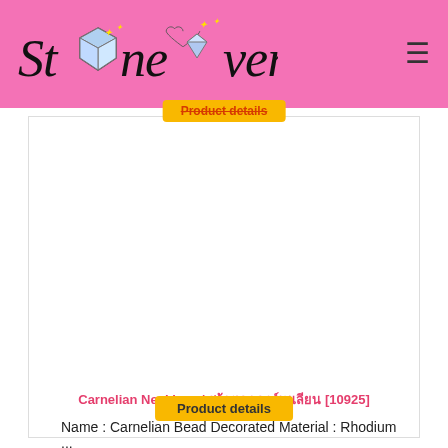[Figure (logo): StoneLover logo with diamond/gem decorative icons on pink background]
Product details
Carnelian Necklace / สร้อยคอคาร์เนเลียน [10925]
Name : Carnelian Bead Decorated Material : Rhodium ...
Base price:    950.00 ฿
Sales price:   950.00 ฿
1
Add to Ca
Product details